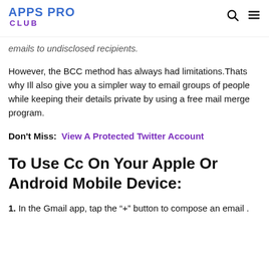APPS PRO CLUB
emails to undisclosed recipients.
However, the BCC method has always had limitations.Thats why Ill also give you a simpler way to email groups of people while keeping their details private by using a free mail merge program.
Don't Miss:  View A Protected Twitter Account
To Use Cc On Your Apple Or Android Mobile Device:
1. In the Gmail app, tap the “+” button to compose an email .